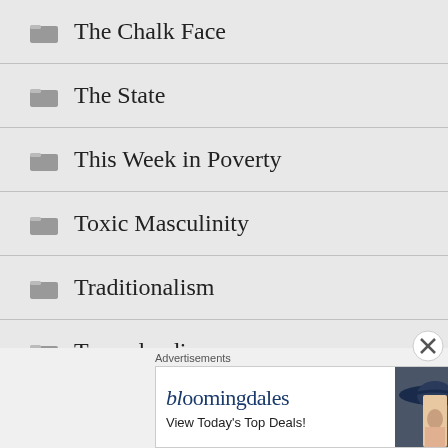The Chalk Face
The State
This Week in Poverty
Toxic Masculinity
Traditionalism
Trumplandia
Truthout
Uncategorized
[Figure (other): Bloomingdales advertisement banner. Text reads: bloomingdales, View Today's Top Deals! With an image of a woman in a wide-brim hat and a SHOP NOW > button.]